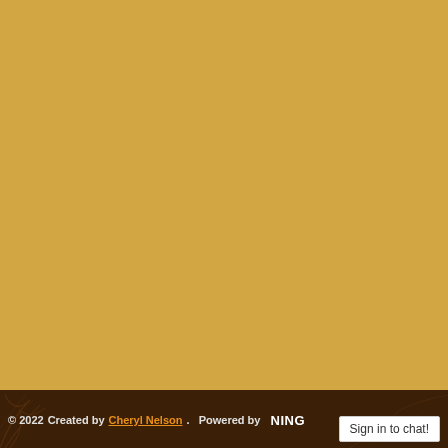[Figure (illustration): Large golden/amber textured background filling the upper portion of the page]
© 2022   Created by Cheryl Nelson.  Powered by  NING
Sign in to chat!